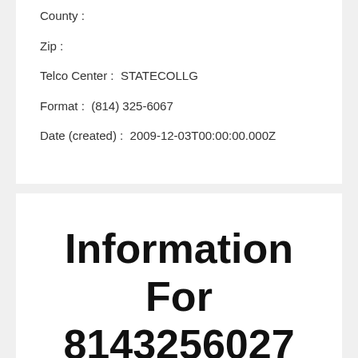County :
Zip :
Telco Center :  STATECOLLG
Format :  (814) 325-6067
Date (created) :  2009-12-03T00:00:00.000Z
Information For 8143256027
Est. Household Income :